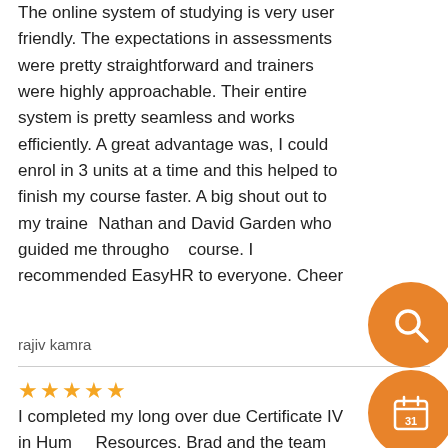The online system of studying is very user friendly. The expectations in assessments were pretty straightforward and trainers were highly approachable. Their entire system is pretty seamless and works efficiently. A great advantage was, I could enrol in 3 units at a time and this helped to finish my course faster. A big shout out to my trainer Nathan and David Garden who guided me throughout course. I recommended EasyHR to everyone. Cheers
rajiv kamra
★★★★★
I completed my long over due Certificate IV in Human Resources. Brad and the team were fantastic, quick to mark and provided valuable feedback. I will be back to do my diploma when time resources permit. Could not recommend high enough. I enjoyed the course, the material,